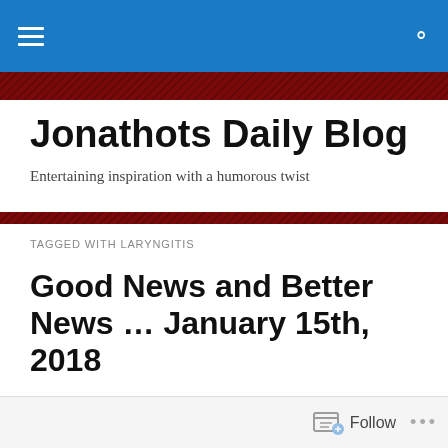Jonathots Daily Blog — navigation bar
Jonathots Daily Blog
Entertaining inspiration with a humorous twist
TAGGED WITH LARYNGITIS
Good News and Better News … January 15th, 2018
Jonathots Daily Blog
(3553)
Follow